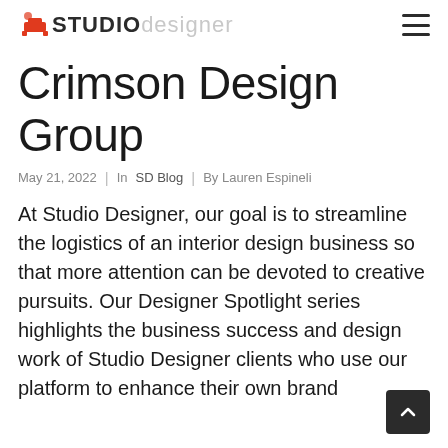Studio Designer
Crimson Design Group
May 21, 2022  |  In SD Blog  |  By Lauren Espineli
At Studio Designer, our goal is to streamline the logistics of an interior design business so that more attention can be devoted to creative pursuits. Our Designer Spotlight series highlights the business success and design work of Studio Designer clients who use our platform to enhance their own brand...